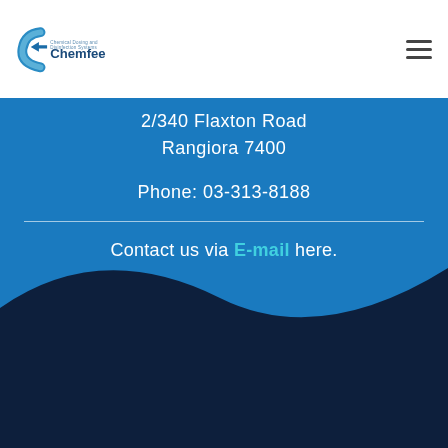Chemfeed logo and navigation
2/340 Flaxton Road
Rangiora 7400
Phone: 03-313-8188
Contact us via E-mail here.